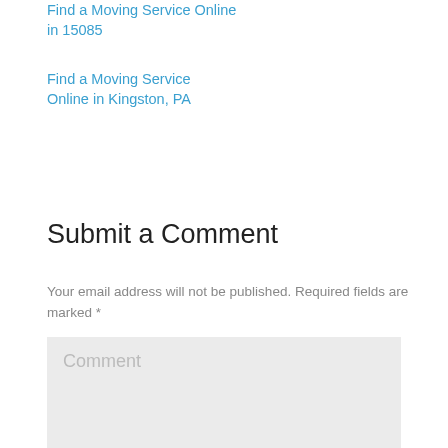Find a Moving Service Online in 15085
Find a Moving Service Online in Kingston, PA
Submit a Comment
Your email address will not be published. Required fields are marked *
Comment